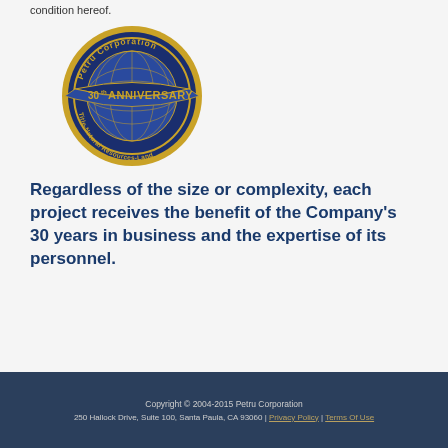condition hereof.
[Figure (logo): Petru Corporation 30th Anniversary seal/logo — circular gold and navy badge with globe, banner reading '30th ANNIVERSARY', and text 'Petru Corporation' and 'Title-Natural Resources-Land']
Regardless of the size or complexity, each project receives the benefit of the Company's 30 years in business and the expertise of its personnel.
Copyright © 2004-2015 Petru Corporation
250 Hallock Drive, Suite 100, Santa Paula, CA 93060 | Privacy Policy | Terms Of Use